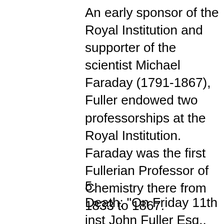An early sponsor of the Royal Institution and supporter of the scientist Michael Faraday (1791-1867), Fuller endowed two professorships at the Royal Institution. Faraday was the first Fullerian Professor of Chemistry there from 1833 to 1867.
5.
Death: "On Friday 11th inst John Fuller Esq., better known by the title "Jack Fuller". He was a very liberal benefactor the London Royal Institution, having founded two professorships and contributed to it altogether upwards of £10,000. His parliamentary career was rendered memorable by an insult to the Speaker, for which he was committed to the Tower. He was a Gentleman esteemed for his social qualities. His large estates, both in England and Jamaica,